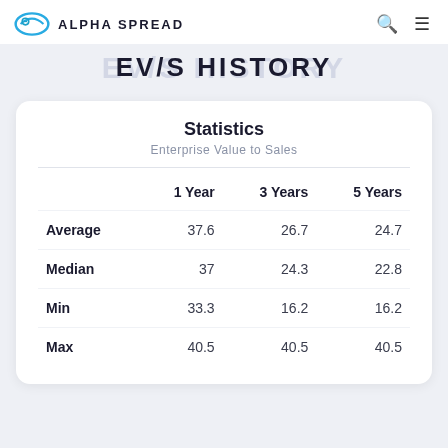ALPHA SPREAD
EV/S HISTORY
|  | 1 Year | 3 Years | 5 Years |
| --- | --- | --- | --- |
| Average | 37.6 | 26.7 | 24.7 |
| Median | 37 | 24.3 | 22.8 |
| Min | 33.3 | 16.2 | 16.2 |
| Max | 40.5 | 40.5 | 40.5 |